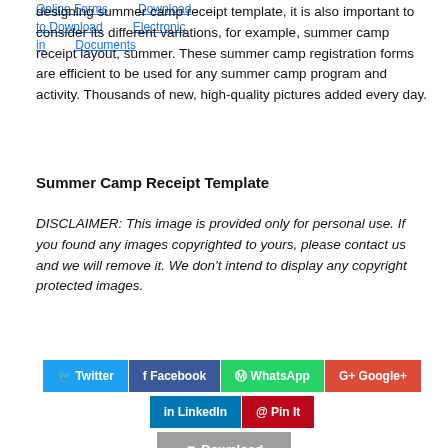Online Forms   Download   to Download   Electronic   in   Documents
designing summer camp receipt template, it is also important to consider its different variations, for example, summer camp receipt layout, summer. These summer camp registration forms are efficient to be used for any summer camp program and activity. Thousands of new, high-quality pictures added every day.
Summer Camp Receipt Template
DISCLAIMER: This image is provided only for personal use. If you found any images copyrighted to yours, please contact us and we will remove it. We don't intend to display any copyright protected images.
[Figure (infographic): Social sharing buttons: Twitter, Facebook, WhatsApp, Google+, LinkedIn, Pin It]
[Figure (infographic): Download button with cloud/arrow icon]